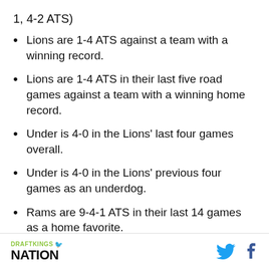1, 4-2 ATS)
Lions are 1-4 ATS against a team with a winning record.
Lions are 1-4 ATS in their last five road games against a team with a winning home record.
Under is 4-0 in the Lions' last four games overall.
Under is 4-0 in the Lions' previous four games as an underdog.
Rams are 9-4-1 ATS in their last 14 games as a home favorite.
Rams are 1-4 ATS against a team with a losing record.
DRAFTKINGS NATION